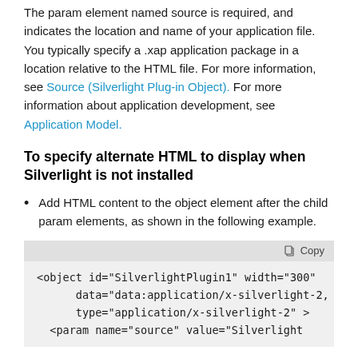The param element named source is required, and indicates the location and name of your application file. You typically specify a .xap application package in a location relative to the HTML file. For more information, see Source (Silverlight Plug-in Object). For more information about application development, see Application Model.
To specify alternate HTML to display when Silverlight is not installed
Add HTML content to the object element after the child param elements, as shown in the following example.
[Figure (screenshot): A code block with a grey background showing XML/HTML code for a Silverlight object element. A 'Copy' button appears in the top right. The code reads: <object id="SilverlightPlugin1" width="300" data="data:application/x-silverlight-2, type="application/x-silverlight-2" > <param name="source" value="Silverlight]